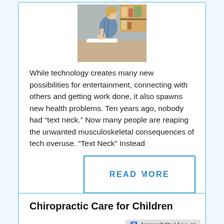[Figure (photo): Woman at desk holding her lower back in pain, an office setting with shelves in the background]
While technology creates many new possibilities for entertainment, connecting with others and getting work done, it also spawns new health problems. Ten years ago, nobody had “text neck.” Now many people are reaping the unwanted musculoskeletal consequences of tech overuse. “Text Neck” Instead
READ MORE
Chiropractic Care for Children